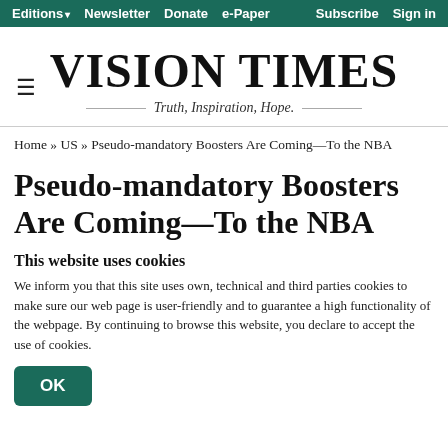Editions  Newsletter  Donate  e-Paper  Subscribe  Sign in
VISION TIMES
Truth, Inspiration, Hope.
Home » US » Pseudo-mandatory Boosters Are Coming—To the NBA
Pseudo-mandatory Boosters Are Coming—To the NBA
This website uses cookies
We inform you that this site uses own, technical and third parties cookies to make sure our web page is user-friendly and to guarantee a high functionality of the webpage. By continuing to browse this website, you declare to accept the use of cookies.
OK